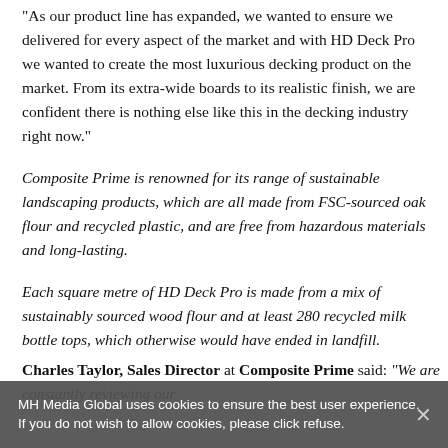“As our product line has expanded, we wanted to ensure we delivered for every aspect of the market and with HD Deck Pro we wanted to create the most luxurious decking product on the market. From its extra-wide boards to its realistic finish, we are confident there is nothing else like this in the decking industry right now.”
Composite Prime is renowned for its range of sustainable landscaping products, which are all made from FSC-sourced oak flour and recycled plastic, and are free from hazardous materials and long-lasting.
Each square metre of HD Deck Pro is made from a mix of sustainably sourced wood flour and at least 280 recycled milk bottle tops, which otherwise would have ended in landfill.
Charles Taylor, Sales Director at Composite Prime said: “We are constantly reviewing our
MH Media Global uses cookies to ensure the best user experience. If you do not wish to allow cookies, please click refuse.